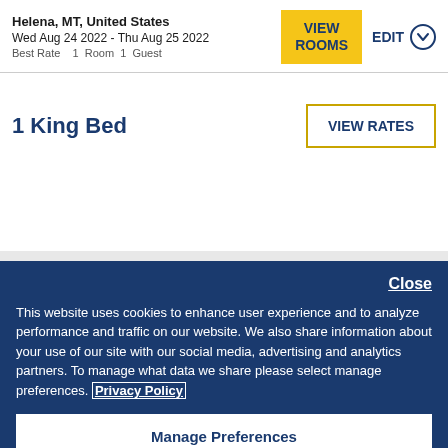Helena, MT, United States
Wed Aug 24 2022 - Thu Aug 25 2022
Best Rate   1  Room  1  Guest
1 King Bed
Close
This website uses cookies to enhance user experience and to analyze performance and traffic on our website. We also share information about your use of our site with our social media, advertising and analytics partners. To manage what data we share please select manage preferences. Privacy Policy
Manage Preferences